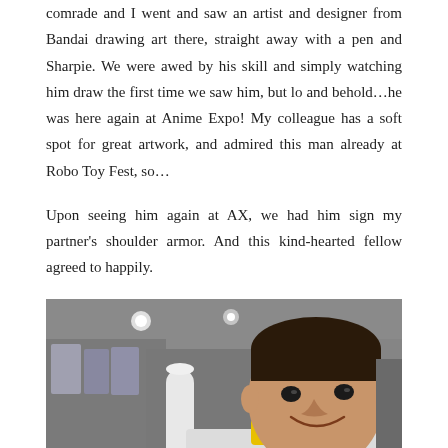comrade and I went and saw an artist and designer from Bandai drawing art there, straight away with a pen and Sharpie. We were awed by his skill and simply watching him draw the first time we saw him, but lo and behold…he was here again at Anime Expo! My colleague has a soft spot for great artwork, and admired this man already at Robo Toy Fest, so…
Upon seeing him again at AX, we had him sign my partner's shoulder armor. And this kind-hearted fellow agreed to happily.
[Figure (photo): A smiling young Asian man at what appears to be Anime Expo convention floor. He is wearing white shoulder armor costume piece with yellow accent pieces on the shoulder. The convention floor with displays and people can be seen in the background. Drawn artwork is visible on the white armor.]